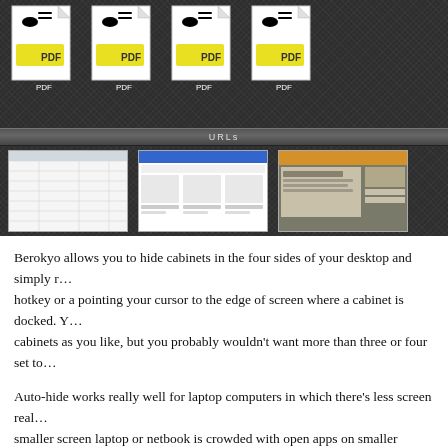[Figure (screenshot): Screenshot of Berokyo application showing PDF file icons in a cabinet row at top, a divider bar with 'URLs' label, and three website thumbnail previews below.]
Berokyo allows you to hide cabinets in the four sides of your desktop and simply reveal them using a hotkey or a pointing your cursor to the edge of screen where a cabinet is docked. You can have as many cabinets as you like, but you probably wouldn't want more than three or four set to auto-hide.
Auto-hide works really well for laptop computers in which there's less screen real estate. When a smaller screen laptop or netbook is crowded with open apps on smaller screens, you can still access your items without having to open numerous Finder windows. With Berokyo you can have one cabinet for your most used applications, and another one for your favorite URLs. When you need to access those apps or URLs, you can simply pull up the cabinets.
The biggest drawback of using Berokyo is that it doesn't make use of Apple's smart folder feature. To get items into a cabinet, you must manually add them. There should be a way to